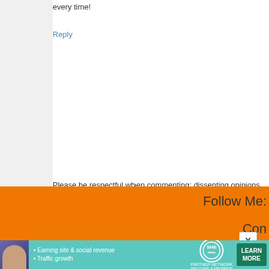every time!
Reply
Please be respectful when commenting; dissenting opinions are gre including a link? Then here's your html cheat sheet: <a href="LINK A
Newer Post
H
Subscribe to: Post Comments (Atom)
Follow Me:
Con
Endorsement Disclosure: As an Amazon Associ
[Figure (infographic): Ad banner for SHE Partner Network with teal background, photo of woman, bullet points about Earning site & social revenue and Traffic growth, SHE logo, and LEARN MORE button]